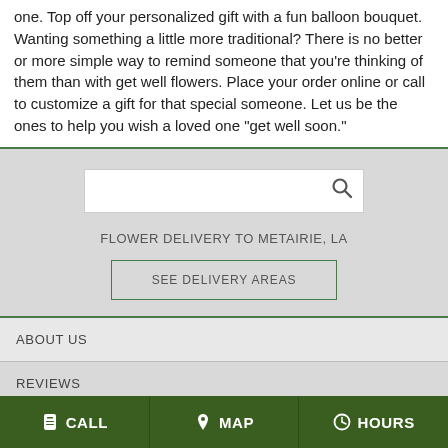one. Top off your personalized gift with a fun balloon bouquet. Wanting something a little more traditional? There is no better or more simple way to remind someone that you're thinking of them than with get well flowers. Place your order online or call to customize a gift for that special someone. Let us be the ones to help you wish a loved one "get well soon."
[Figure (screenshot): Search box with magnifying glass icon on gray background]
FLOWER DELIVERY TO METAIRIE, LA
SEE DELIVERY AREAS
ABOUT US
REVIEWS
CALL   MAP   HOURS